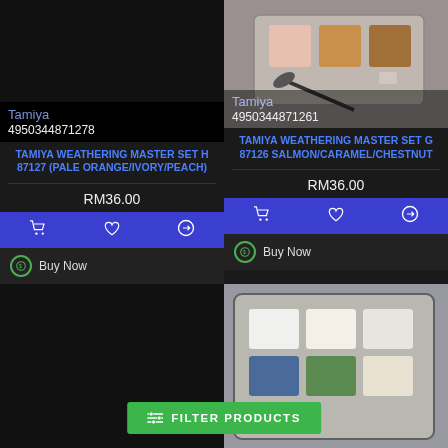[Figure (photo): Left product card - dark placeholder image area for Tamiya Weathering Master Set H 87127]
Tamiya
4950344871278
TAMIYA WEATHERING MASTER SET H 87127 (PALE ORANGE/IVORY/PEACH)
RM36.00
[Figure (photo): Right product card - photo of Tamiya Weathering Master palette with brush, pans in pink/orange/tan tones]
Tamiya
4950344871261
TAMIYA WEATHERING MASTER SET G 87126 SALMON/CARAMEL/CHESTNUT
RM36.00
[Figure (photo): Bottom right - partial photo of Tamiya Weathering Master palette with blue/green/white pans]
FILTER PRODUCTS